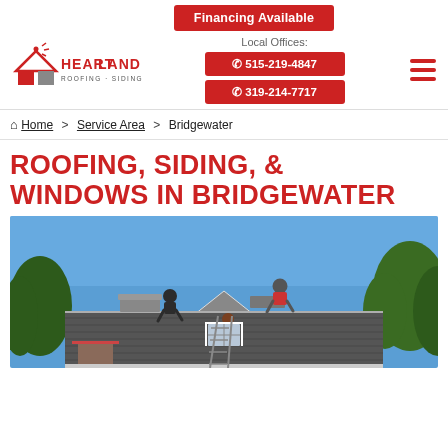[Figure (logo): Heartland Roofing Siding Solar logo with house icon]
Financing Available
Local Offices:
515-219-4847
319-214-7717
Home > Service Area > Bridgewater
ROOFING, SIDING, & WINDOWS IN BRIDGEWATER
[Figure (photo): Workers installing shingles on a residential roof with blue sky and trees in background]